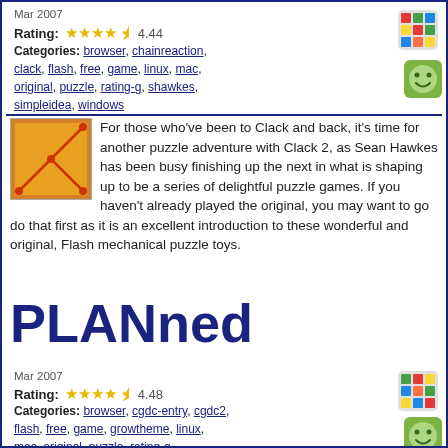Mar 2007
Rating: 4.44
Categories: browser, chainreaction, clack, flash, free, game, linux, mac, original, puzzle, rating-g, shawkes, simpleidea, windows
[Figure (illustration): Rubik's cube colorful icon]
[Figure (illustration): Green smiley face icon]
[Figure (illustration): Orange puzzle game thumbnail]
For those who've been to Clack and back, it's time for another puzzle adventure with Clack 2, as Sean Hawkes has been busy finishing up the next in what is shaping up to be a series of delightful puzzle games. If you haven't already played the original, you may want to go do that first as it is an excellent introduction to these wonderful and original, Flash mechanical puzzle toys.
PLANned
Mar 2007
Rating: 4.48
Categories: browser, cgdc-entry, cgdc2, flash, free, game, growtheme, linux, mac, original, puzzle, rating-g, simpleidea, windows, wouter
[Figure (illustration): Rubik's cube colorful icon]
[Figure (illustration): Green smiley face icon]